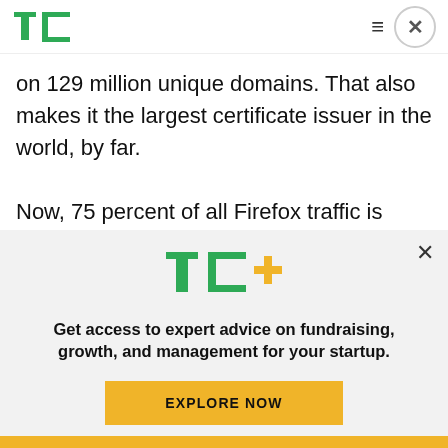[Figure (logo): TechCrunch logo - green TC letters in square brackets style]
on 129 million unique domains. That also makes it the largest certificate issuer in the world, by far.
Now, 75 percent of all Firefox traffic is HTTPS, according to public Firefox data — in part thanks to Let's Encrypt. That's a massive increase from when it was founded, where only 38 percent of
[Figure (logo): TC+ logo in green with plus sign in yellow/gold]
Get access to expert advice on fundraising, growth, and management for your startup.
EXPLORE NOW